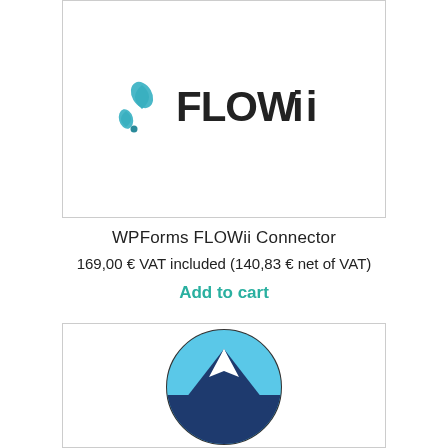[Figure (logo): FLOWii logo with teal droplet icon and FLOWII wordmark in dark gray]
WPForms FLOWii Connector
169,00 € VAT included (140,83 € net of VAT)
Add to cart
[Figure (logo): Circular logo with mountain peak silhouette, blue and dark navy colors, white snow cap]